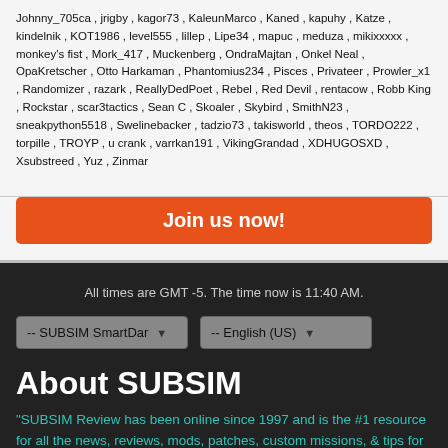Johnny_705ca , jrigby , kagor73 , KaleunMarco , Kaned , kapuhy , Katze , kindelnik , KOT1986 , level555 , lillep , Lipe34 , mapuc , meduza , mikixxxxx , monkey's fist , Mork_417 , Muckenberg , OndraMajtan , Onkel Neal , OpaKretscher , Otto Harkaman , Phantomius234 , Pisces , Privateer , Prowler_x1 , Randomizer , razark , ReallyDedPoet , Rebel , Red Devil , rentacow , Robb King , Rockstar , scar3tactics , Sean C , Skoaler , Skybird , SmithN23 , sneakpython5518 , Swelinebacker , tadzio73 , takisworld , theos , TORDO222 , torpille , TROYP , u crank , varrkan191 , VikingGrandad , XDHUGOSXD , Xsubstreed , Yuz , Zinmar
Join us now!
All times are GMT -5. The time now is 11:40 AM.
-- SUBSIM SmartDar
-- English (US)
About SUBSIM
"SUBSIM Review has been online since 1997 and is the #1 resource for all the news, reviews, mods, patches, custom missions, & tips for every naval game & subsim made. Good hunting!"